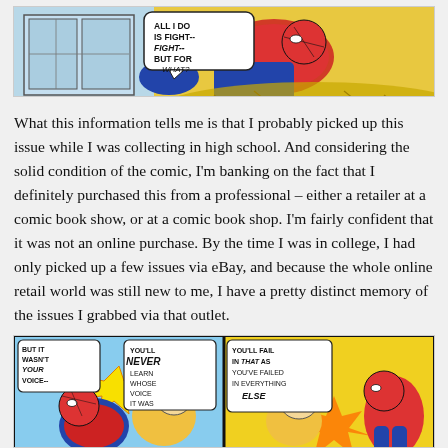[Figure (illustration): Comic book panel showing Spider-Man with a speech bubble reading 'ALL I DO IS FIGHT-- FIGHT-- BUT FOR WHAT?']
What this information tells me is that I probably picked up this issue while I was collecting in high school. And considering the solid condition of the comic, I'm banking on the fact that I definitely purchased this from a professional – either a retailer at a comic book show, or at a comic book shop. I'm fairly confident that it was not an online purchase. By the time I was in college, I had only picked up a few issues via eBay, and because the whole online retail world was still new to me, I have a pretty distinct memory of the issues I grabbed via that outlet.
[Figure (illustration): Comic book panels showing Spider-Man fighting. Left panel: speech bubbles read 'BUT IT WASN'T YOUR VOICE--' and 'YOU'LL NEVER LEARN WHOSE VOICE IT WAS' with sound effect 'OOOFF!'. Right panel: speech bubble reads 'YOU'LL FAIL IN THAT AS YOU'VE FAILED IN EVERYTHING ELSE'.]